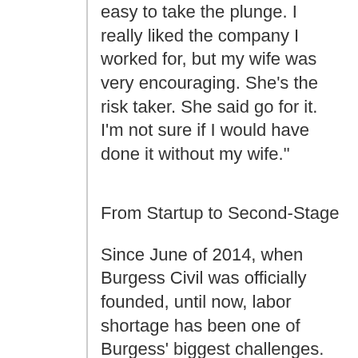easy to take the plunge. I really liked the company I worked for, but my wife was very encouraging. She's the risk taker. She said go for it. I'm not sure if I would have done it without my wife."
From Startup to Second-Stage
Since June of 2014, when Burgess Civil was officially founded, until now, labor shortage has been one of Burgess' biggest challenges. That shortage includes skilled and unskilled labor. According to Burgess, people working in the elements are a dying bread.
"In this industry, the Baby Boomers are cycling out," he said. "My business is very blue collar. In fact, about 50 of our 60